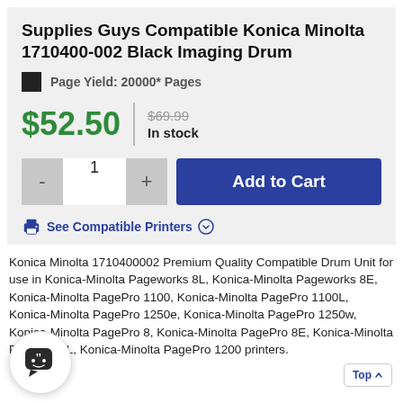Supplies Guys Compatible Konica Minolta 1710400-002 Black Imaging Drum
Page Yield: 20000* Pages
$52.50  $69.99  In stock
1  Add to Cart
See Compatible Printers
Konica Minolta 1710400002 Premium Quality Compatible Drum Unit for use in Konica-Minolta Pageworks 8L, Konica-Minolta Pageworks 8E, Konica-Minolta PagePro 1100, Konica-Minolta PagePro 1100L, Konica-Minolta PagePro 1250e, Konica-Minolta PagePro 1250w, Konica-Minolta PagePro 8, Konica-Minolta PagePro 8E, Konica-Minolta PagePro 8L, Konica-Minolta PagePro 1200 printers.